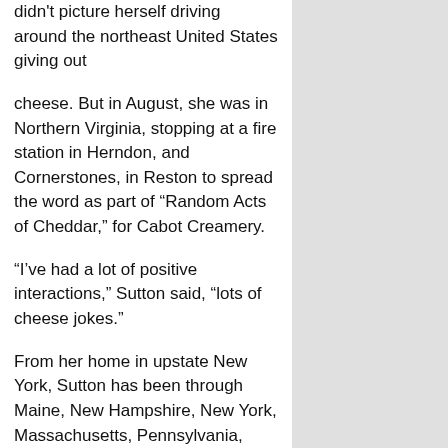didn't picture herself driving around the northeast United States giving out
cheese. But in August, she was in Northern Virginia, stopping at a fire station in Herndon, and Cornerstones, in Reston to spread the word as part of “Random Acts of Cheddar,” for Cabot Creamery.
“I’ve had a lot of positive interactions,” Sutton said, “lots of cheese jokes.”
From her home in upstate New York, Sutton has been through Maine, New Hampshire, New York, Massachusetts, Pennsylvania, Maryland and the northern part of Virginia, talking about cheese, supporting non-profits and the importance of volunteering. On Saturday, Aug. 25, she was at her final stop in Wegman's in the Kingstowne area.
“It’s a really rewarding feeling,” Sutton said from her table in the store.